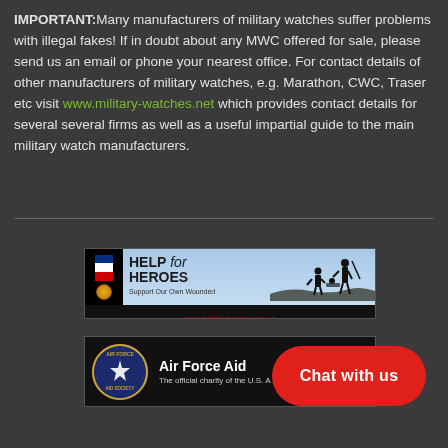IMPORTANT: Many manufacturers of military watches suffer problems with illegal fakes! If in doubt about any MWC offered for sale, please send us an email or phone your nearest office. For contact details of other manufacturers of military watches, e.g. Marathon, CWC, Traser etc visit www.military-watches.net which provides contact details for several several firms as well as a useful impartial guide to the main military watch manufacturers.
[Figure (illustration): Help for Heroes charity banner with blue sky background, silhouettes of soldiers carrying a wounded comrade, medal and flag logo on left, www.helpforheroes.org.uk URL at bottom]
[Figure (illustration): Air Force Aid Society banner with circular USAF shield logo on left, text 'Air Force Aid Society - The official charity of the U.S. Air Force' on dark background]
[Figure (other): Chat with us button - red rounded rectangle button with white text]